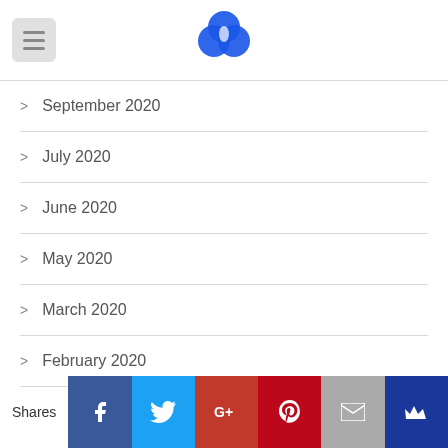Navigation header with hamburger menu and cloud logo
> September 2020
> July 2020
> June 2020
> May 2020
> March 2020
> February 2020
Shares | Facebook | Twitter | Google+ | Pinterest | Email | Crown